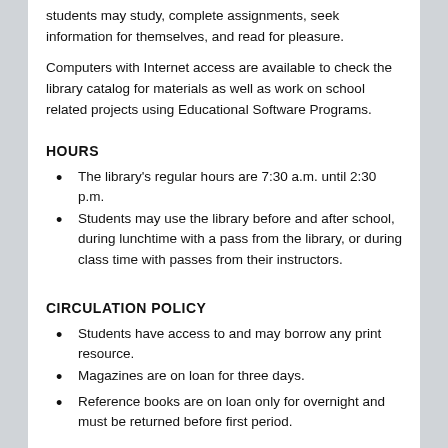students may study, complete assignments, seek information for themselves, and read for pleasure.
Computers with Internet access are available to check the library catalog for materials as well as work on school related projects using Educational Software Programs.
HOURS
The library's regular hours are 7:30 a.m. until 2:30 p.m.
Students may use the library before and after school, during lunchtime with a pass from the library, or during class time with passes from their instructors.
CIRCULATION POLICY
Students have access to and may borrow any print resource.
Magazines are on loan for three days.
Reference books are on loan only for overnight and must be returned before first period.